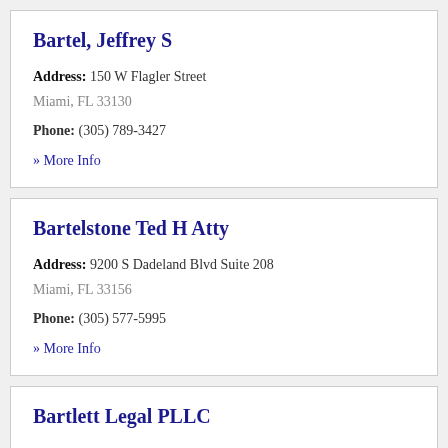Bartel, Jeffrey S
Address: 150 W Flagler Street
Miami, FL 33130
Phone: (305) 789-3427
» More Info
Bartelstone Ted H Atty
Address: 9200 S Dadeland Blvd Suite 208
Miami, FL 33156
Phone: (305) 577-5995
» More Info
Bartlett Legal PLLC